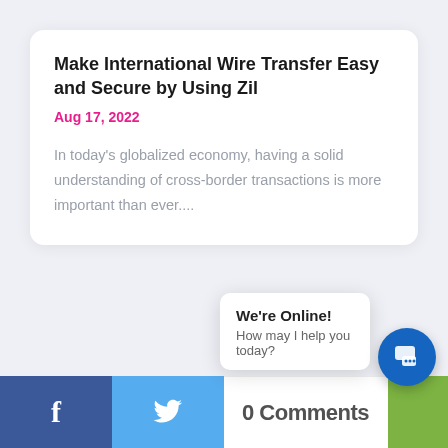Make International Wire Transfer Easy and Secure by Using Zil
Aug 17, 2022
In today's globalized economy, having a solid understanding of cross-border transactions is more important than ever....
0 Comments
We're Online!
How may I help you today?